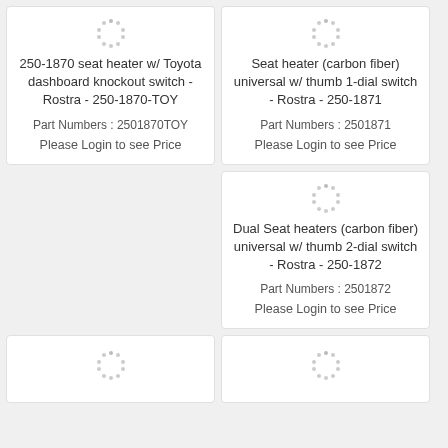250-1870 seat heater w/ Toyota dashboard knockout switch - Rostra - 250-1870-TOY
Part Numbers : 2501870TOY
Please Login to see Price
Seat heater (carbon fiber) universal w/ thumb 1-dial switch - Rostra - 250-1871
Part Numbers : 2501871
Please Login to see Price
Dual Seat heaters (carbon fiber) universal w/ thumb 2-dial switch - Rostra - 250-1872
Part Numbers : 2501872
Please Login to see Price